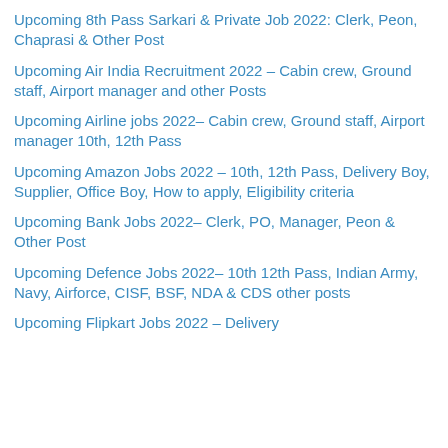Upcoming 8th Pass Sarkari & Private Job 2022: Clerk, Peon, Chaprasi & Other Post
Upcoming Air India Recruitment 2022 – Cabin crew, Ground staff, Airport manager and other Posts
Upcoming Airline jobs 2022– Cabin crew, Ground staff, Airport manager 10th, 12th Pass
Upcoming Amazon Jobs 2022 – 10th, 12th Pass, Delivery Boy, Supplier, Office Boy, How to apply, Eligibility criteria
Upcoming Bank Jobs 2022– Clerk, PO, Manager, Peon & Other Post
Upcoming Defence Jobs 2022– 10th 12th Pass, Indian Army, Navy, Airforce, CISF, BSF, NDA & CDS other posts
Upcoming Flipkart Jobs 2022 – Delivery...